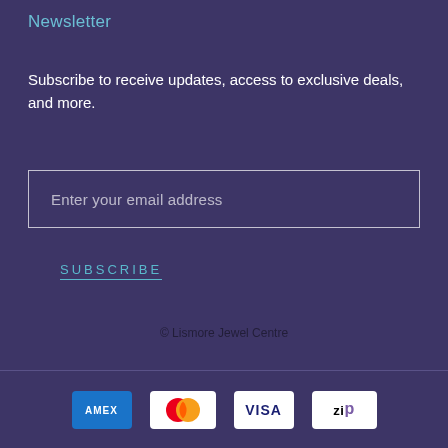Newsletter
Subscribe to receive updates, access to exclusive deals, and more.
Enter your email address
SUBSCRIBE
© Lismore Jewel Centre
[Figure (other): Payment method icons: American Express (AMEX), Mastercard, Visa, Zip]